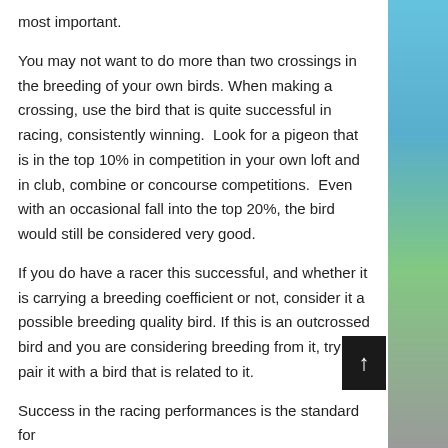most important.
You may not want to do more than two crossings in the breeding of your own birds. When making a crossing, use the bird that is quite successful in racing, consistently winning.  Look for a pigeon that is in the top 10% in competition in your own loft and in club, combine or concourse competitions.  Even with an occasional fall into the top 20%, the bird would still be considered very good.
If you do have a racer this successful, and whether it is carrying a breeding coefficient or not, consider it a possible breeding quality bird. If this is an outcrossed bird and you are considering breeding from it, try to pair it with a bird that is related to it.
Success in the racing performances is the standard for